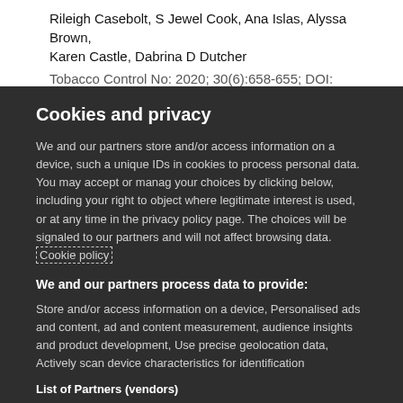Rileigh Casebolt, S Jewel Cook, Ana Islas, Alyssa Brown, Karen Castle, Dabrina D Dutcher
Tobacco Control No: 2020; 30(6):658-655; DOI:
Cookies and privacy
We and our partners store and/or access information on a device, such a unique IDs in cookies to process personal data. You may accept or manag your choices by clicking below, including your right to object where legitimate interest is used, or at any time in the privacy policy page. The choices will be signaled to our partners and will not affect browsing data. Cookie policy
We and our partners process data to provide:
Store and/or access information on a device, Personalised ads and content, ad and content measurement, audience insights and product development, Use precise geolocation data, Actively scan device characteristics for identification
List of Partners (vendors)
I Accept